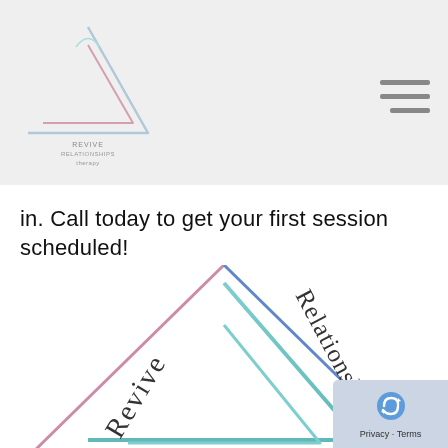[Figure (logo): Triangle logo with nested triangles and text 'Revive Relationships Therapy' around it]
in. Call today to get your first session scheduled!
[Figure (illustration): Large triangle logo graphic with text 'Revive' along left edge and 'Relationships' along right edge, teal and pink/blue gradient color scheme]
Privacy · Terms